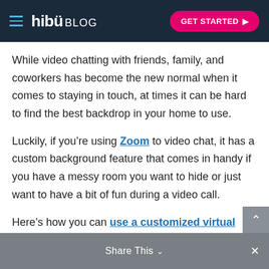hibü BLOG  GET STARTED ▶
While video chatting with friends, family, and coworkers has become the new normal when it comes to staying in touch, at times it can be hard to find the best backdrop in your home to use.
Luckily, if you're using Zoom to video chat, it has a custom background feature that comes in handy if you have a messy room you want to hide or just want to have a bit of fun during a video call.
Here's how you can use a customized virtual background:
Share This  ✕